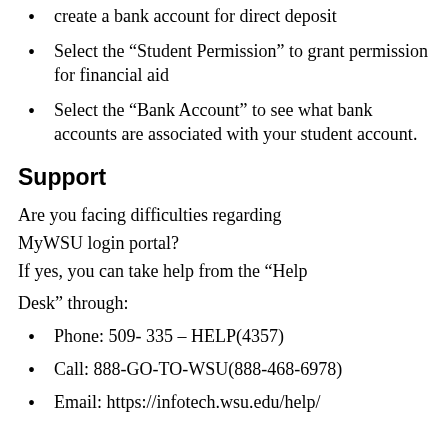create a bank account for direct deposit
Select the “Student Permission” to grant permission for financial aid
Select the “Bank Account” to see what bank accounts are associated with your student account.
Support
Are you facing difficulties regarding MyWSU login portal?
If yes, you can take help from the “Help Desk” through:
Phone: 509- 335 – HELP(4357)
Call: 888-GO-TO-WSU(888-468-6978)
Email: https://infotech.wsu.edu/help/